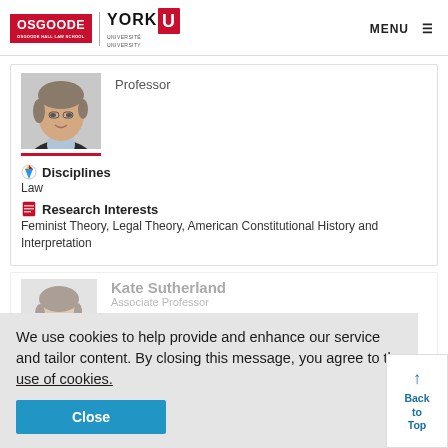OSGOODE Hall Law School | YORK UNIVERSITY | MENU
[Figure (photo): Profile photo of a professor (woman, dark jacket)]
Professor
Disciplines
Law
Research Interests
Feminist Theory, Legal Theory, American Constitutional History and Interpretation
We use cookies to help provide and enhance our service and tailor content. By closing this message, you agree to the use of cookies.
Close
[Figure (photo): Second profile photo partially visible behind cookie banner]
Kate Sutherland
Associate Professor
Disciplines
Law and Gender, Public Law and Legal Theory
Research Interests
Legal Theory, Feminist Legal Studies